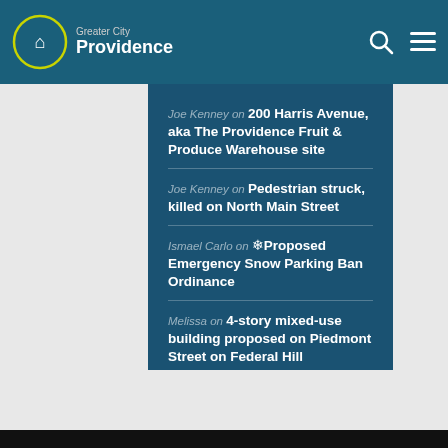Greater City Providence
Joe Kenney on 200 Harris Avenue, aka The Providence Fruit & Produce Warehouse site
Joe Kenney on Pedestrian struck, killed on North Main Street
Ismael Carlo on ❄ Proposed Emergency Snow Parking Ban Ordinance
Melissa on 4-story mixed-use building proposed on Piedmont Street on Federal Hill